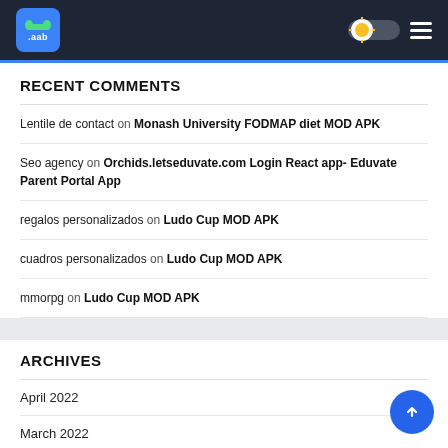.aab header with logo, light/dark toggle, and hamburger menu
RECENT COMMENTS
Lentile de contact on Monash University FODMAP diet MOD APK
Seo agency on Orchids.letseduvate.com Login React app- Eduvate Parent Portal App
regalos personalizados on Ludo Cup MOD APK
cuadros personalizados on Ludo Cup MOD APK
mmorpg on Ludo Cup MOD APK
ARCHIVES
April 2022
March 2022